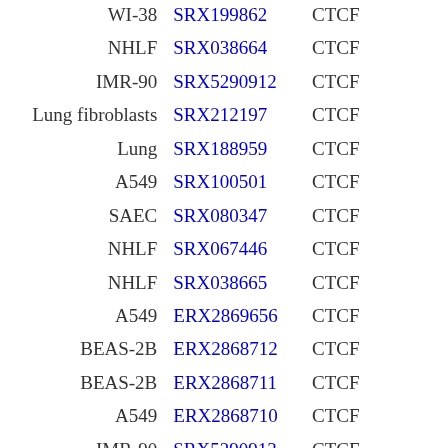| Cell | SRX/ERX ID | Factor |  |
| --- | --- | --- | --- |
| WI-38 | SRX199862 | CTCF |  |
| NHLF | SRX038664 | CTCF |  |
| IMR-90 | SRX5290912 | CTCF |  |
| Lung fibroblasts | SRX212197 | CTCF |  |
| Lung | SRX188959 | CTCF |  |
| A549 | SRX100501 | CTCF |  |
| SAEC | SRX080347 | CTCF |  |
| NHLF | SRX067446 | CTCF |  |
| NHLF | SRX038665 | CTCF |  |
| A549 | ERX2869656 | CTCF |  |
| BEAS-2B | ERX2868712 | CTCF |  |
| BEAS-2B | ERX2868711 | CTCF |  |
| A549 | ERX2868710 | CTCF |  |
| IMR-90 | SRX5290913 | CTCF |  |
| BEAS-2B | SRX497256 | CTCF |  |
| AG04450 | SRX199863 | CTCF |  |